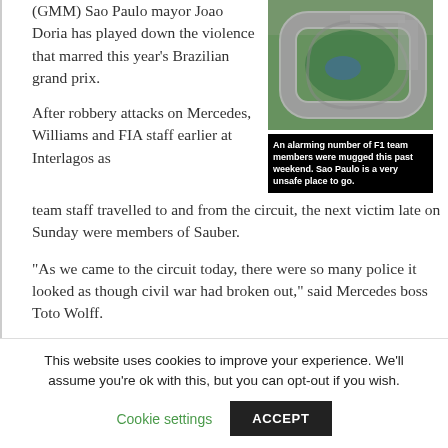(GMM) Sao Paulo mayor Joao Doria has played down the violence that marred this year's Brazilian grand prix.
[Figure (photo): Aerial view of the Interlagos Formula 1 circuit in Sao Paulo, Brazil, with track and surrounding area visible.]
An alarming number of F1 team members were mugged this past weekend. Sao Paulo is a very unsafe place to go.
After robbery attacks on Mercedes, Williams and FIA staff earlier at Interlagos as team staff travelled to and from the circuit, the next victim late on Sunday were members of Sauber.
"As we came to the circuit today, there were so many police it looked as though civil war had broken out," said Mercedes boss Toto Wolff.
This website uses cookies to improve your experience. We'll assume you're ok with this, but you can opt-out if you wish.